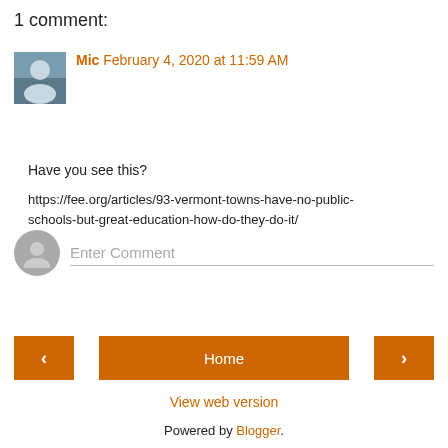1 comment:
Mic February 4, 2020 at 11:59 AM
Have you see this?
https://fee.org/articles/93-vermont-towns-have-no-public-schools-but-great-education-how-do-they-do-it/
Reply
Enter Comment
Home
View web version
Powered by Blogger.